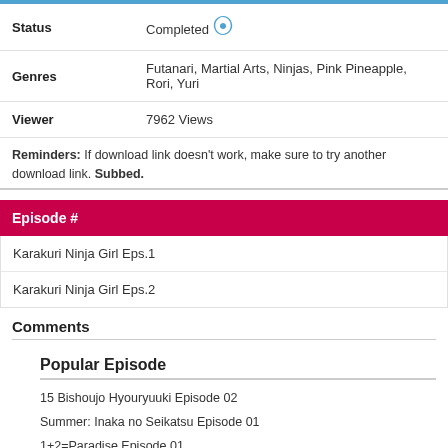| Status |  | Genres |  | Viewer |  |
| --- | --- | --- | --- | --- | --- |
| Status | Completed |
| Genres | Futanari, Martial Arts, Ninjas, Pink Pineapple, Rori, Yuri |
| Viewer | 7962 Views |
Reminders: If download link doesn't work, make sure to try another download link. Subbed.
Episode #
Karakuri Ninja Girl Eps.1
Karakuri Ninja Girl Eps.2
Comments
Popular Episode
15 Bishoujo Hyouryuuki Episode 02
Summer: Inaka no Seikatsu Episode 01
1+2=Paradise Episode 01
1+2=Paradise Episode 02